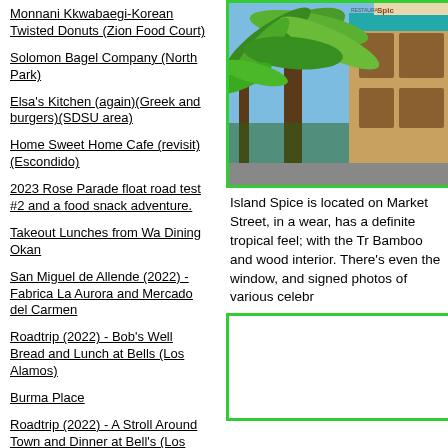Monnani Kkwabaegi-Korean Twisted Donuts (Zion Food Court)
Solomon Bagel Company (North Park)
Elsa's Kitchen (again)(Greek and burgers)(SDSU area)
Home Sweet Home Cafe (revisit)(Escondido)
2023 Rose Parade float road test #2 and a food snack adventure.
Takeout Lunches from Wa Dining Okan
San Miguel de Allende (2022) - Fabrica La Aurora and Mercado del Carmen
Roadtrip (2022) - Bob's Well Bread and Lunch at Bells (Los Alamos)
Burma Place
Roadtrip (2022) - A Stroll Around Town and Dinner at Bell's (Los Alamos)
RECENT COMMENTS
[Figure (photo): Exterior of Island Spice restaurant with tropical banana trees/plants in foreground and wooden building facade with sign in background]
Island Spice is located on Market Street, in a wear, has a definite tropical feel; with the Tr Bamboo and wood interior. There's even the window, and signed photos of various celebr